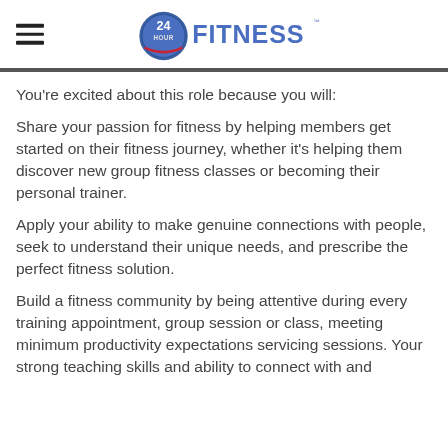[Figure (logo): 24 Hour Fitness logo with hamburger menu icon on the left]
You're excited about this role because you will:
Share your passion for fitness by helping members get started on their fitness journey, whether it's helping them discover new group fitness classes or becoming their personal trainer.
Apply your ability to make genuine connections with people, seek to understand their unique needs, and prescribe the perfect fitness solution.
Build a fitness community by being attentive during every training appointment, group session or class, meeting minimum productivity expectations servicing sessions. Your strong teaching skills and ability to connect with and